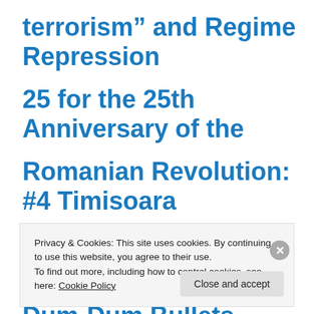terrorism” and Regime Repression 25 for the 25th Anniversary of the Romanian Revolution: #4 Timisoara Demonstrators Injured and Killed by Dum-Dum Bullets
Privacy & Cookies: This site uses cookies. By continuing to use this website, you agree to their use.
To find out more, including how to control cookies, see here: Cookie Policy